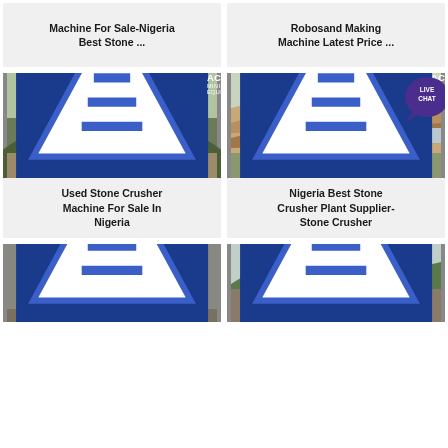Machine For Sale-Nigeria Best Stone ...
Robosand Making Machine Latest Price ...
[Figure (photo): Industrial stone crusher plant with conveyor belts and structures on hillside, ACrusher Mining Equipment logo]
Used Stone Crusher Machine For Sale In Nigeria
[Figure (photo): Open quarry/mining pit with excavated hillside, ACrusher Mining Equipment logo, live chat bubble]
Nigeria Best Stone Crusher Plant Supplier-Stone Crusher
[Figure (photo): Close-up of stone crusher machine with rocks, ACrusher Mining Equipment logo]
[Figure (photo): Stone crushing plant with machinery and green hills in background, ACrusher Mining Equipment logo]